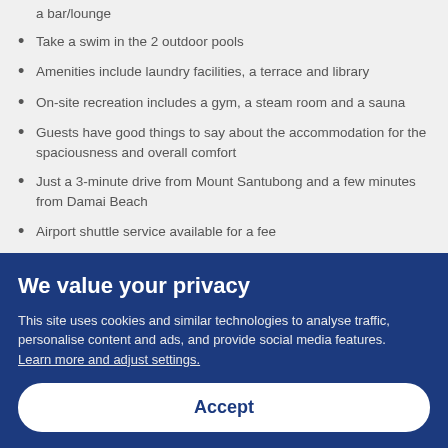a bar/lounge
Take a swim in the 2 outdoor pools
Amenities include laundry facilities, a terrace and library
On-site recreation includes a gym, a steam room and a sauna
Guests have good things to say about the accommodation for the spaciousness and overall comfort
Just a 3-minute drive from Mount Santubong and a few minutes from Damai Beach
Airport shuttle service available for a fee
About the The Culvert
We value your privacy
This site uses cookies and similar technologies to analyse traffic, personalise content and ads, and provide social media features. Learn more and adjust settings.
Accept